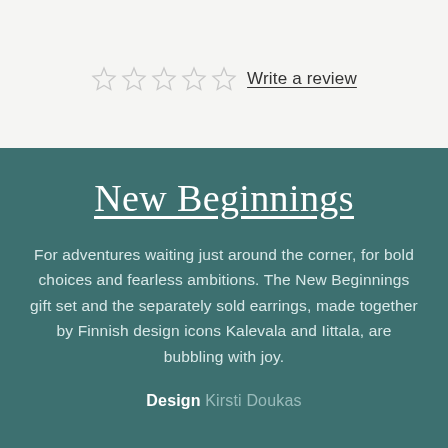[Figure (other): Five empty star rating icons followed by 'Write a review' underlined link]
New Beginnings
For adventures waiting just around the corner, for bold choices and fearless ambitions. The New Beginnings gift set and the separately sold earrings, made together by Finnish design icons Kalevala and Iittala, are bubbling with joy.
Design Kirsti Doukas